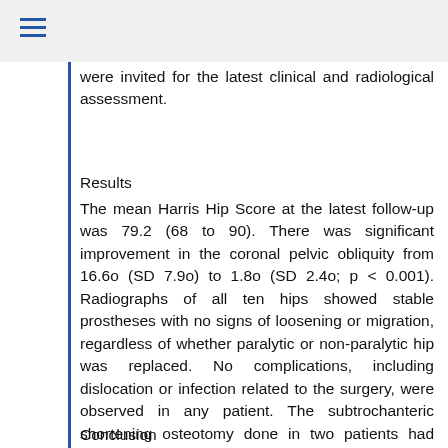≡
were invited for the latest clinical and radiological assessment.
Results
The mean Harris Hip Score at the latest follow-up was 79.2 (68 to 90). There was significant improvement in the coronal pelvic obliquity from 16.6o (SD 7.9o) to 1.8o (SD 2.4o; p < 0.001). Radiographs of all ten hips showed stable prostheses with no signs of loosening or migration, regardless of whether paralytic or non-paralytic hip was replaced. No complications, including dislocation or infection related to the surgery, were observed in any patient. The subtrochanteric shortening osteotomy done in two patients had united by nine months.
Conclusion
Simultaneous correction of soft tissue contractures is